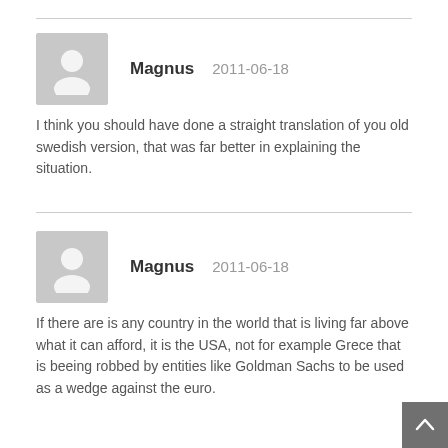Magnus   2011-06-18
I think you should have done a straight translation of you old swedish version, that was far better in explaining the situation.
Magnus   2011-06-18
If there are is any country in the world that is living far above what it can afford, it is the USA, not for example Grece that is beeing robbed by entities like Goldman Sachs to be used as a wedge against the euro.